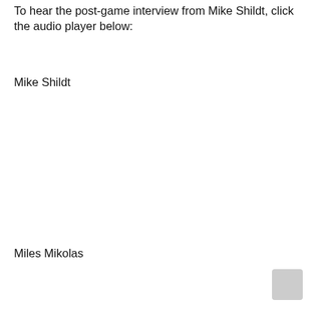To hear the post-game interview from Mike Shildt, click the audio player below:
Mike Shildt
Miles Mikolas